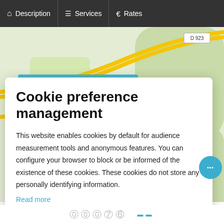Description | Services | Rates
[Figure (map): Street map showing Champrond-en-Gâtine area with road D 923 highlighted in yellow]
Cookie preference management
This website enables cookies by default for audience measurement tools and anonymous features. You can configure your browser to block or be informed of the existence of these cookies. These cookies do not store any personally identifying information.
Read more
No thanks | I choose | Ok for me